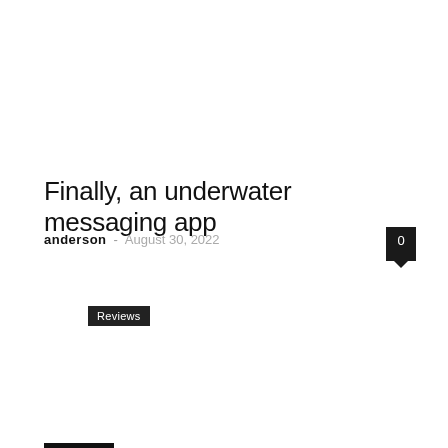Reviews
Finally, an underwater messaging app
anderson – August 30, 2022